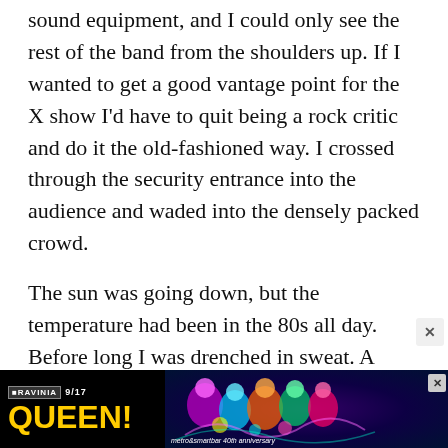sound equipment, and I could only see the rest of the band from the shoulders up. If I wanted to get a good vantage point for the X show I'd have to quit being a rock critic and do it the old-fashioned way. I crossed through the security entrance into the audience and waded into the densely packed crowd.
The sun was going down, but the temperature had been in the 80s all day. Before long I was drenched in sweat. A day's worth of plastic beer cups crackled underfoot, and abandoned blankets lay trampled and twisted beneath them. After Squeeze finished its set, the crowd thinned out. I decided to move toward the middle rather than the front, where I'd inevitably find myself in a
[Figure (infographic): Advertisement banner for RAVINIA 9/17 QUEEN! event - metro & smartbar 40th anniversary. Black background with yellow QUEEN! text and colorful psychedelic figures on the right.]